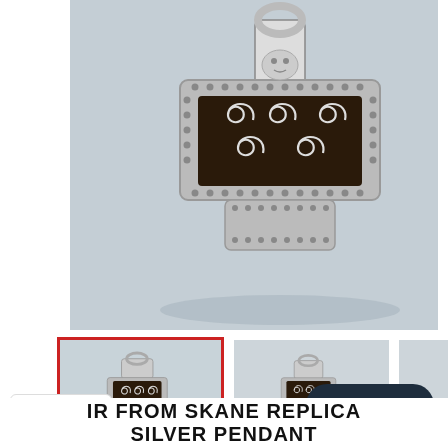[Figure (photo): Close-up photo of a Thor's hammer (Mjolnir) silver pendant with intricate spiral Celtic/Viking knotwork design on a white/grey fuzzy background. The hammer has dotted border edges and decorative swirl patterns.]
[Figure (photo): Thumbnail row showing three views of silver Thor's hammer pendants. First thumbnail (selected with red border) shows front detail view. Second shows side profile. Third shows a darker/different variant. Navigation arrow on right.]
Chat with us
USD
IR FROM SKANE REPLICA SILVER PENDANT